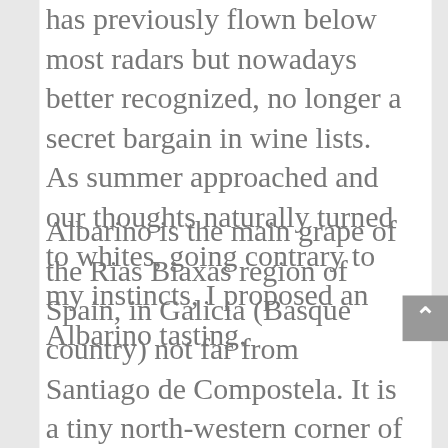has previously flown below most radars but nowadays better recognized, no longer a secret bargain in wine lists. As summer approached and our thoughts naturally turned to whites, going contrary to my instincts, I proposed an Albarino tasting.
Albarino is the main grape of the Rias Biaxas region of Spain, in Galicia (Basque country) not far from Santiago de Compostela. It is a tiny north-western corner of Spain, immediately north of the Portuguese border, facing the Atlantic Ocean. Composed of a series of four estuaries, Rias Biaxas is warm and humid, benefiting from the Gulf Stream nearby